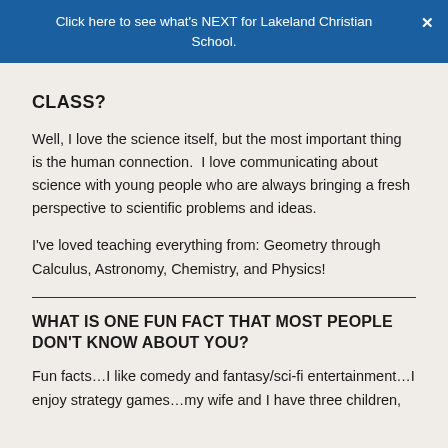Click here to see what's NEXT for Lakeland Christian School.
CLASS?
Well, I love the science itself, but the most important thing is the human connection.  I love communicating about science with young people who are always bringing a fresh perspective to scientific problems and ideas.
I've loved teaching everything from: Geometry through Calculus, Astronomy, Chemistry, and Physics!
WHAT IS ONE FUN FACT THAT MOST PEOPLE DON'T KNOW ABOUT YOU?
Fun facts…I like comedy and fantasy/sci-fi entertainment…I enjoy strategy games…my wife and I have three children,